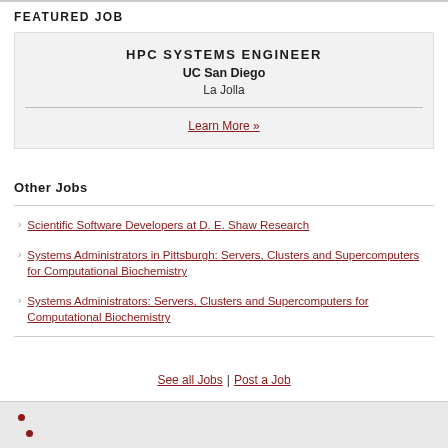FEATURED JOB
HPC SYSTEMS ENGINEER
UC San Diego
La Jolla
Learn More »
Other Jobs
Scientific Software Developers at D. E. Shaw Research
Systems Administrators in Pittsburgh: Servers, Clusters and Supercomputers for Computational Biochemistry
Systems Administrators: Servers, Clusters and Supercomputers for Computational Biochemistry
See all Jobs | Post a Job
[Figure (other): Bottom section with decorative red dots on grey background]